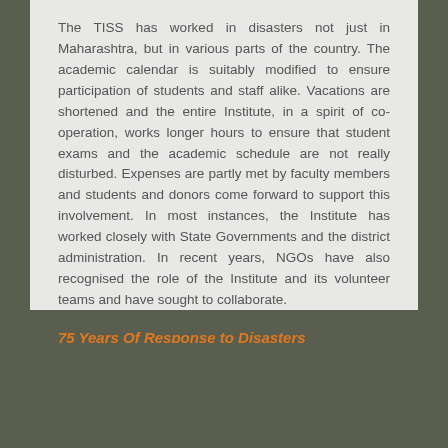The TISS has worked in disasters not just in Maharashtra, but in various parts of the country. The academic calendar is suitably modified to ensure participation of students and staff alike. Vacations are shortened and the entire Institute, in a spirit of co-operation, works longer hours to ensure that student exams and the academic schedule are not really disturbed. Expenses are partly met by faculty members and students and donors come forward to support this involvement. In most instances, the Institute has worked closely with State Governments and the district administration. In recent years, NGOs have also recognised the role of the Institute and its volunteer teams and have sought to collaborate.
75 Years Of Response to Disasters